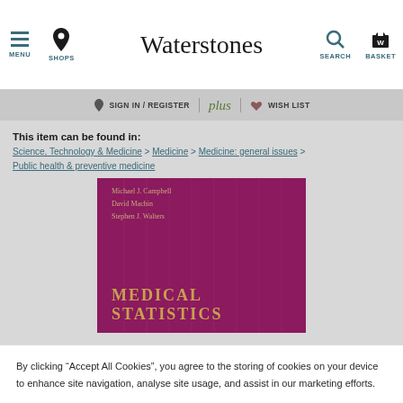Waterstones - MENU | SHOPS | SEARCH | BASKET
SIGN IN / REGISTER | plus | WISH LIST
This item can be found in:
Science, Technology & Medicine > Medicine > Medicine: general issues > Public health & preventive medicine
[Figure (photo): Book cover for Medical Statistics by Michael J. Campbell, David Machin, Stephen J. Walters. Dark magenta/purple background with gold title text and vertical line decoration.]
By clicking "Accept All Cookies", you agree to the storing of cookies on your device to enhance site navigation, analyse site usage, and assist in our marketing efforts.